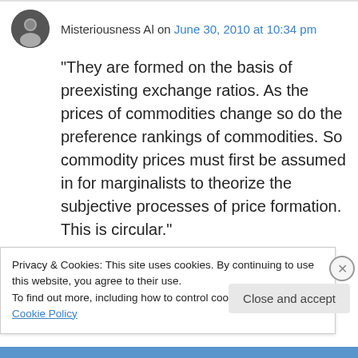Misteriousness Al on June 30, 2010 at 10:34 pm
“They are formed on the basis of preexisting exchange ratios. As the prices of commodities change so do the preference rankings of commodities. So commodity prices must first be assumed in for marginalists to theorize the subjective processes of price formation. This is circular.”
No. Not circular. It’s a causal cycle. Circular is
Privacy & Cookies: This site uses cookies. By continuing to use this website, you agree to their use.
To find out more, including how to control cookies, see here: Cookie Policy
Close and accept